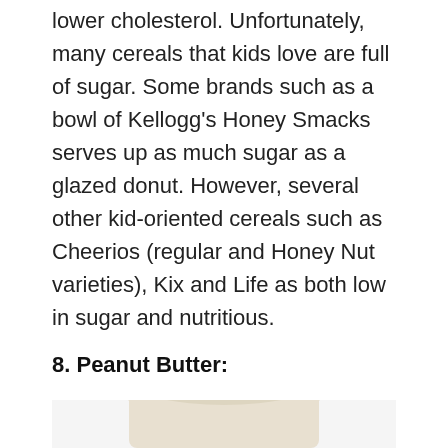lower cholesterol. Unfortunately, many cereals that kids love are full of sugar. Some brands such as a bowl of Kellogg's Honey Smacks serves up as much sugar as a glazed donut. However, several other kid-oriented cereals such as Cheerios (regular and Honey Nut varieties), Kix and Life as both low in sugar and nutritious.
8. Peanut Butter:
[Figure (photo): Partial image of a jar of peanut butter, cropped at bottom of page]